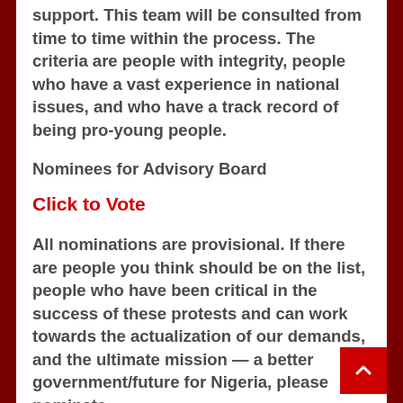support. This team will be consulted from time to time within the process. The criteria are people with integrity, people who have a vast experience in national issues, and who have a track record of being pro-young people.
Nominees for Advisory Board
Click to Vote
All nominations are provisional. If there are people you think should be on the list, people who have been critical in the success of these protests and can work towards the actualization of our demands, and the ultimate mission — a better government/future for Nigeria, please nominate